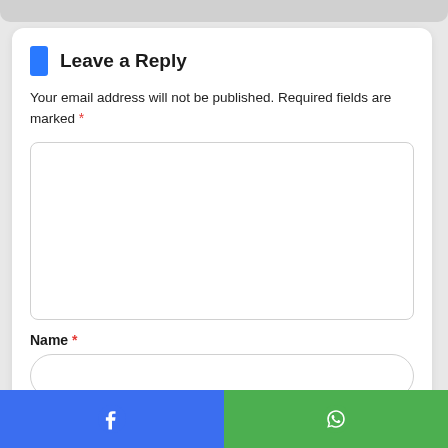Leave a Reply
Your email address will not be published. Required fields are marked *
[Figure (screenshot): Large empty comment text area input field with rounded border]
Name *
[Figure (screenshot): Name input field with rounded pill-shaped border]
[Figure (screenshot): Bottom share bar with Facebook (blue) and WhatsApp (green) buttons]